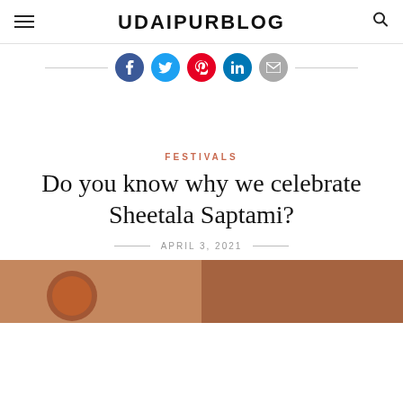UDAIPURBLOG
[Figure (infographic): Social sharing icons row: Facebook (blue), Twitter (cyan), Pinterest (red), LinkedIn (dark blue), Email (gray), each as a circular button with horizontal rules on either side]
FESTIVALS
Do you know why we celebrate Sheetala Saptami?
APRIL 3, 2021
[Figure (photo): Photo of women in traditional red/orange sarees gathered around a decorated circular religious icon for Sheetala Saptami festival]